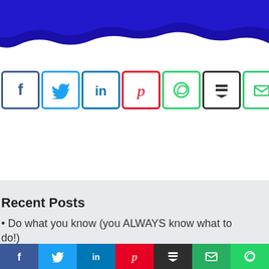[Figure (illustration): Blue paint brush stroke across the top of the page]
[Figure (infographic): Row of social media share buttons: Facebook (dark blue border, f icon), Twitter (light blue border, bird icon), LinkedIn (blue border, in icon), Pinterest (red border, p icon), WhatsApp (green border, phone/chat icon), Buffer (dark border, layers icon), Email (green border, envelope icon)]
Recent Posts
Do what you know (you ALWAYS know what to do!)
How I created a business and way of
[Figure (infographic): Bottom sticky social share bar with icons for Facebook, Twitter, LinkedIn, Pinterest, Buffer, Email, WhatsApp in colored backgrounds]